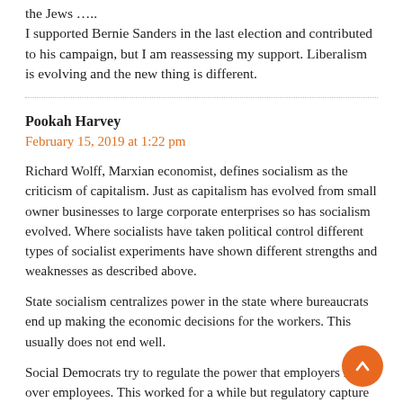the Jews …..
I supported Bernie Sanders in the last election and contributed to his campaign, but I am reassessing my support. Liberalism is evolving and the new thing is different.
Pookah Harvey
February 15, 2019 at 1:22 pm
Richard Wolff, Marxian economist, defines socialism as the criticism of capitalism. Just as capitalism has evolved from small owner businesses to large corporate enterprises so has socialism evolved. Where socialists have taken political control different types of socialist experiments have shown different strengths and weaknesses as described above.
State socialism centralizes power in the state where bureaucrats end up making the economic decisions for the workers. This usually does not end well.
Social Democrats try to regulate the power that employers have over employees. This worked for a while but regulatory capture weakens that regime
Wolff feels both of these approaches have missed an important point. For economic freedom workers should have policy-making decisions of the larger enterprise by law of